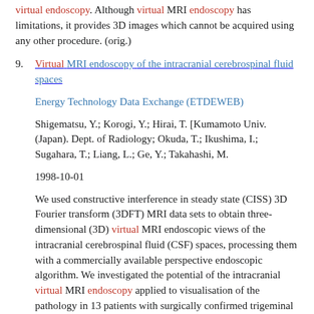virtual endoscopy. Although virtual MRI endoscopy has limitations, it provides 3D images which cannot be acquired using any other procedure. (orig.)
9. Virtual MRI endoscopy of the intracranial cerebrospinal fluid spaces
Energy Technology Data Exchange (ETDEWEB)
Shigematsu, Y.; Korogi, Y.; Hirai, T. [Kumamoto Univ. (Japan). Dept. of Radiology; Okuda, T.; Ikushima, I.; Sugahara, T.; Liang, L.; Ge, Y.; Takahashi, M.
1998-10-01
We used constructive interference in steady state (CISS) 3D Fourier transform (3DFT) MRI data sets to obtain three-dimensional (3D) virtual MRI endoscopic views of the intracranial cerebrospinal fluid (CSF) spaces, processing them with a commercially available perspective endoscopic algorithm. We investigated the potential of the intracranial virtual MRI endoscopy applied to visualisation of the pathology in 13 patients with surgically confirmed trigeminal neuralgia (3), hemifacial spasm (3), acoustic neuroma (3), suprasellar